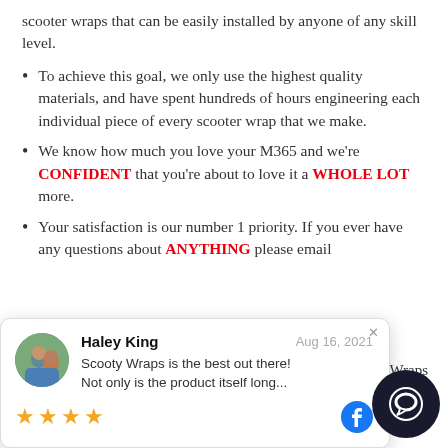scooter wraps that can be easily installed by anyone of any skill level.
To achieve this goal, we only use the highest quality materials, and have spent hundreds of hours engineering each individual piece of every scooter wrap that we make.
We know how much you love your M365 and we're CONFIDENT that you're about to love it a WHOLE LOT more.
Your satisfaction is our number 1 priority. If you ever have any questions about ANYTHING please email
[Figure (screenshot): A social media review popup/overlay showing a review by Haley King dated Aug 16, 2021, with the text 'Scooty Wraps is the best out there! Not only is the product itself long...' and 4 stars, with a Facebook icon.]